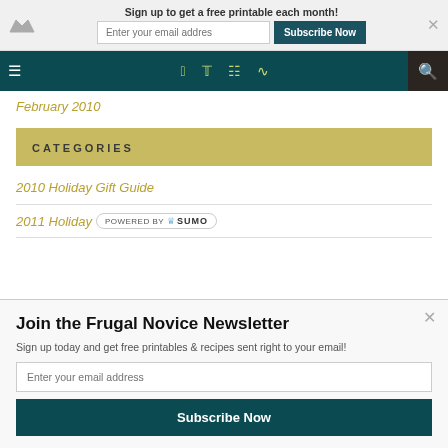Sign up to get a free printable each month!
Enter your email addres
Subscribe Now
[Figure (screenshot): Website navigation bar with hamburger menu, social icons (Facebook, Twitter, Instagram, RSS), and search button on dark teal background]
February 2010
CATEGORIES
2010 Holiday Gift Guide
2011 Holiday
POWERED BY SUMO
Join the Frugal Novice Newsletter
Sign up today and get free printables & recipes sent right to your email!
Enter your email address
Subscribe Now